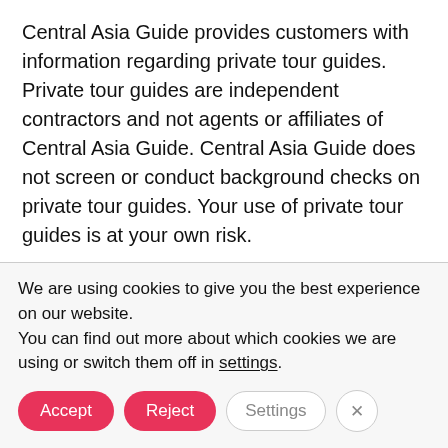Central Asia Guide provides customers with information regarding private tour guides. Private tour guides are independent contractors and not agents or affiliates of Central Asia Guide. Central Asia Guide does not screen or conduct background checks on private tour guides. Your use of private tour guides is at your own risk.
Customers are responsible for working directly with private tour guides on scheduling, meeting time / place, tour specifics and payment terms. Central Asia Guide makes no representations or warranties of any kind regarding private tour guides or their services.
We are using cookies to give you the best experience on our website.
You can find out more about which cookies we are using or switch them off in settings.